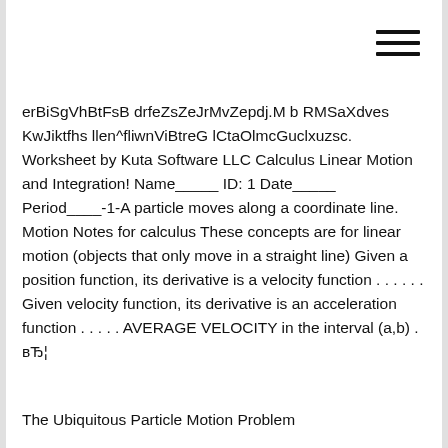[Figure (other): Hamburger menu icon (three horizontal lines) in top right corner]
erBiSgVhBtFsB drfeZsZeJrMvZepdj.M b RMSaXdves KwJiktfhs llen^fliwnViBtreG lCtaOlmcGuclxuzsc. Worksheet by Kuta Software LLC Calculus Linear Motion and Integration! Name_____ ID: 1 Date_____ Period____-1-A particle moves along a coordinate line. Motion Notes for calculus These concepts are for linear motion (objects that only move in a straight line) Given a position function, its derivative is a velocity function . . . . . . Given velocity function, its derivative is an acceleration function . . . . . AVERAGE VELOCITY in the interval (a,b) . вЂ¦
The Ubiquitous Particle Motion Problem